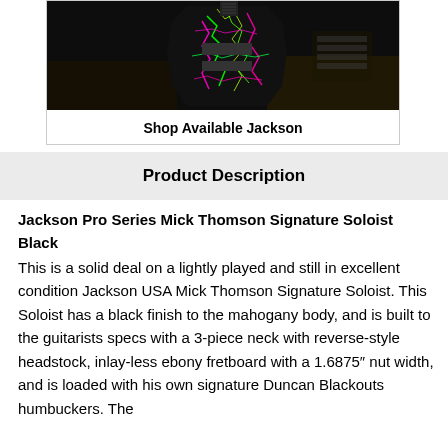[Figure (photo): Electric guitar with colorful neon crackle finish (pink, green, yellow) against dark background, displayed on a workbench]
Shop Available Jackson
Product Description
Jackson Pro Series Mick Thomson Signature Soloist Black
This is a solid deal on a lightly played and still in excellent condition Jackson USA Mick Thomson Signature Soloist. This Soloist has a black finish to the mahogany body, and is built to the guitarists specs with a 3-piece neck with reverse-style headstock, inlay-less ebony fretboard with a 1.6875″ nut width, and is loaded with his own signature Duncan Blackouts humbuckers. The